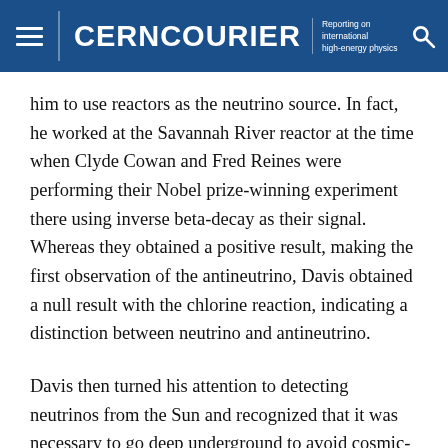CERN COURIER — Reporting on international high-energy physics
him to use reactors as the neutrino source. In fact, he worked at the Savannah River reactor at the time when Clyde Cowan and Fred Reines were performing their Nobel prize-winning experiment there using inverse beta-decay as their signal. Whereas they obtained a positive result, making the first observation of the antineutrino, Davis obtained a null result with the chlorine reaction, indicating a distinction between neutrino and antineutrino.
Davis then turned his attention to detecting neutrinos from the Sun and recognized that it was necessary to go deep underground to avoid cosmic-ray backgrounds. He also realized that observing neutrinos from the Sun would be one of the most exciting things one could